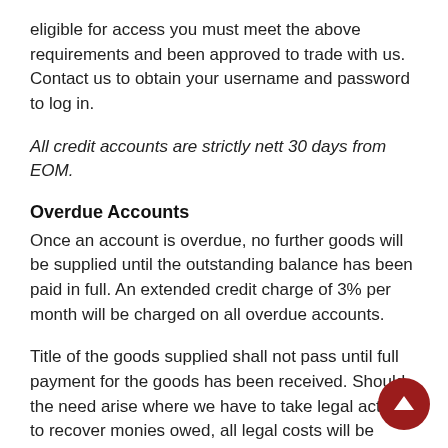eligible for access you must meet the above requirements and been approved to trade with us. Contact us to obtain your username and password to log in.
All credit accounts are strictly nett 30 days from EOM.
Overdue Accounts
Once an account is overdue, no further goods will be supplied until the outstanding balance has been paid in full. An extended credit charge of 3% per month will be charged on all overdue accounts.
Title of the goods supplied shall not pass until full payment for the goods has been received. Should the need arise where we have to take legal action to recover monies owed, all legal costs will be claimed against the debtor.